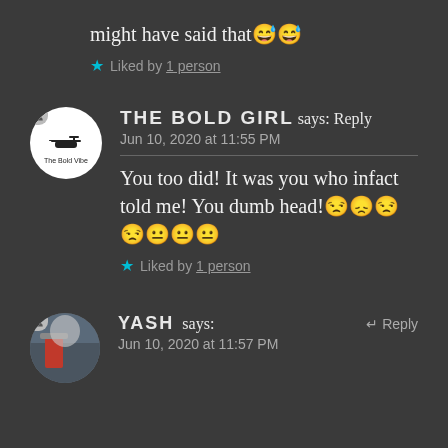might have said that😅😅
★ Liked by 1 person
THE BOLD GIRL says: Reply
Jun 10, 2020 at 11:55 PM
You too did! It was you who infact told me! You dumb head!😒😞😒😒😐😐😐
★ Liked by 1 person
YASH says: ↵ Reply
Jun 10, 2020 at 11:57 PM